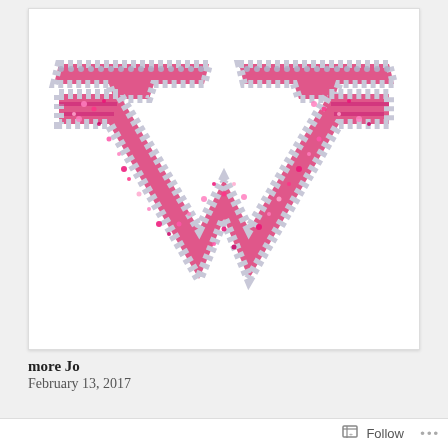[Figure (photo): A rhinestone/crystal encrusted Wonder Woman logo in pink and silver, showing a stylized W shape with sparkling gems on a white background.]
more Jo
February 13, 2017